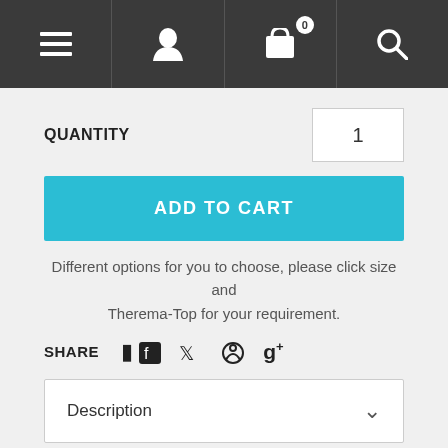[Figure (screenshot): Navigation bar with hamburger menu, user icon, cart icon with badge showing 0, and search icon on dark background]
QUANTITY
1
ADD TO CART
Different options for you to choose, please click size and Therema-Top for your requirement.
SHARE
Description
Specifications:
Size: 21.5 X 6.5 X 5.1 cm; 65cm Long Arc Side; 25cm Wider Side.
Adjustable Velcro Wrap Design: Can be used on